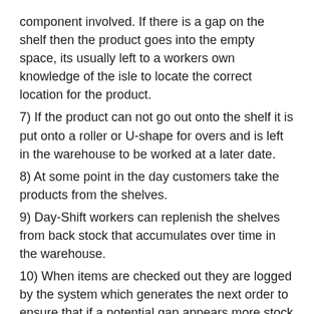component involved. If there is a gap on the shelf then the product goes into the empty space, its usually left to a workers own knowledge of the isle to locate the correct location for the product.
7) If the product can not go out onto the shelf it is put onto a roller or U-shape for overs and is left in the warehouse to be worked at a later date.
8) At some point in the day customers take the products from the shelves.
9) Day-Shift workers can replenish the shelves from back stock that accumulates over time in the warehouse.
10) When items are checked out they are logged by the system which generates the next order to ensure that if a potential gap appears more stock will be there within a few days.
Then there is the work for online-shoppers. The online shoppers are what we call the workers who go about the